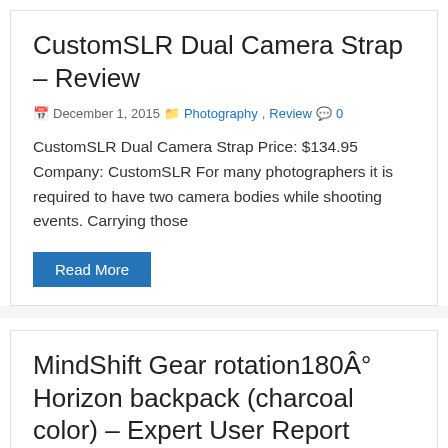CustomSLR Dual Camera Strap – Review
December 1, 2015  Photography, Review  0
CustomSLR Dual Camera Strap Price: $134.95 Company: CustomSLR For many photographers it is required to have two camera bodies while shooting events. Carrying those
Read More
MindShift Gear rotation180° Horizon backpack (charcoal color) – Expert User Report Review
September 4, 2015  BackPack Bag, Camcorder, Camera...